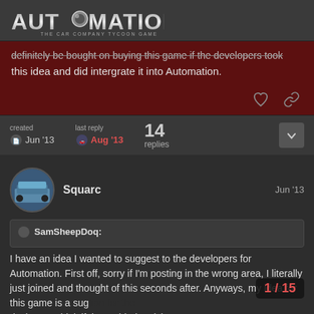[Figure (logo): Automation – The Car Company Tycoon Game logo]
definitely be bought on buying this game if the developers took this idea and did intergrate it into Automation.
created  Jun '13    last reply  Aug '13    14 replies
Squarc   Jun '13
SamSheepDoq: I have an idea I wanted to suggest to the developers for Automation. First off, sorry if I'm posting in the wrong area, I literally just joined and thought of this seconds after. Anyways, my idea for this game is a suggestion for the designer. I think if they added a pickup t... an SUV or mid-sized SUV the develope...
1 / 15